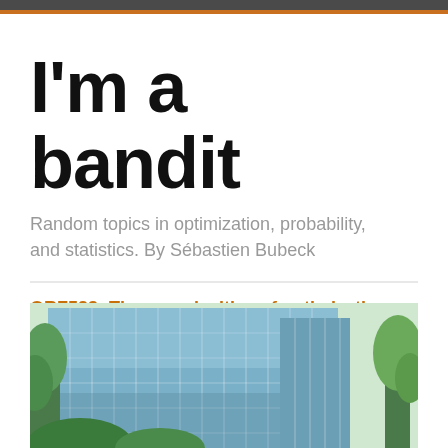I'm a bandit
Random topics in optimization, probability, and statistics. By Sébastien Bubeck
ORF523: The complexities of optimization
Guest posts
Archives
About me
[Figure (photo): Photograph of a modern glass-facade building surrounded by green trees]